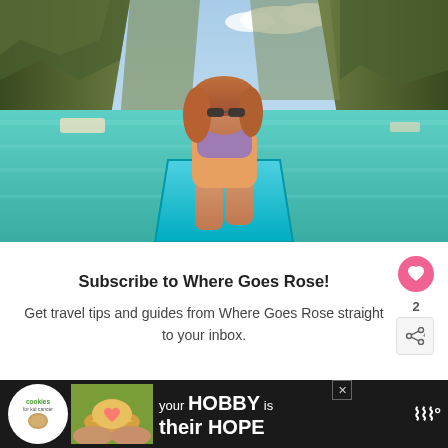[Figure (photo): Woman with curly red hair and sunglasses sitting on the bow of a blue boat on turquoise lagoon water, surrounded by tall limestone cliffs covered in green vegetation, blue sky with clouds in background]
Subscribe to Where Goes Rose!
Get travel tips and guides from Where Goes Rose straight to your inbox.
[Figure (infographic): Advertisement banner: 'cookies for kid cancer' logo on left, photo of heart-shaped cookie being held, text 'your HOBBY is their HOPE' on dark background, close X button, Meredith logo on right]